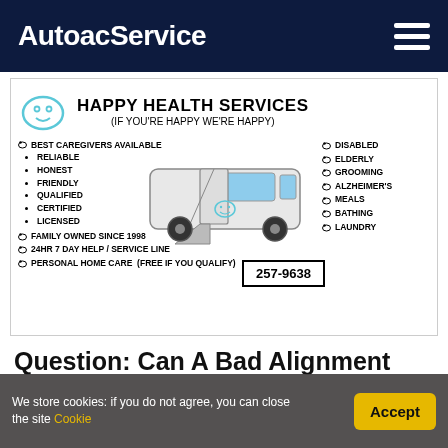AutoacService
[Figure (illustration): Happy Health Services advertisement flyer showing a wheelchair-accessible van with smiley face logo, listing caregiving services, phone number 257-9638, family owned since 1998, 24HR 7 day help/service line, personal home care free if you qualify]
Question: Can A Bad Alignment
We store cookies: if you do not agree, you can close the site Cookie
Accept